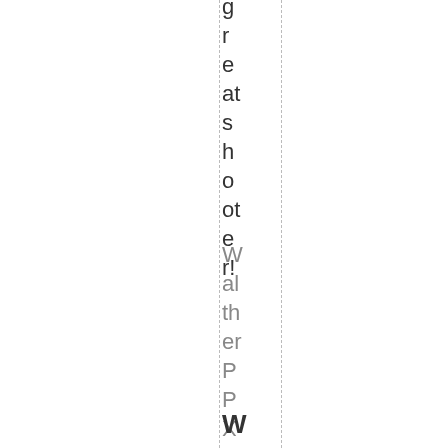greatest shooter!
Walther PP XM1.40 S&W Pistol
Wal